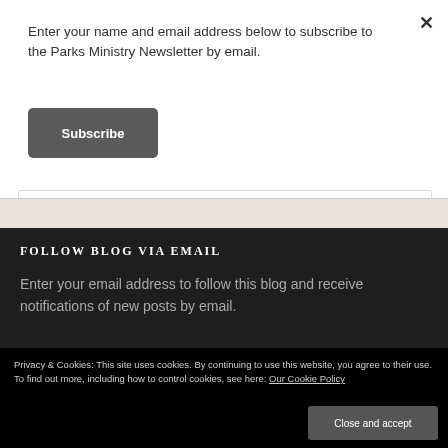Enter your name and email address below to subscribe to the Parks Ministry Newsletter by email.
Subscribe
FOLLOW BLOG VIA EMAIL
Enter your email address to follow this blog and receive notifications of new posts by email.
Privacy & Cookies: This site uses cookies. By continuing to use this website, you agree to their use.
To find out more, including how to control cookies, see here: Our Cookie Policy
Close and accept